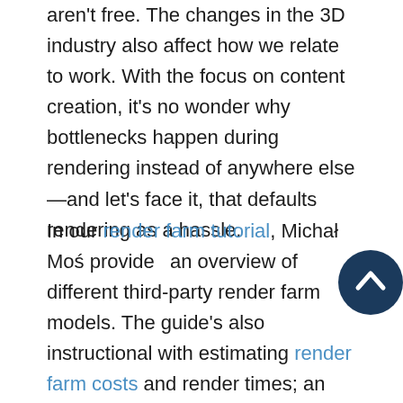aren't free. The changes in the 3D industry also affect how we relate to work. With the focus on content creation, it's no wonder why bottlenecks happen during rendering instead of anywhere else —and let's face it, that defaults rendering as a hassle.
In our render farm tutorial, Michał Moś provides an overview of different third-party render farm models. The guide's also instructional with estimating render farm costs and render times; an invaluable way to assess your current/prospective benchmark and compare with third-party services like ours.